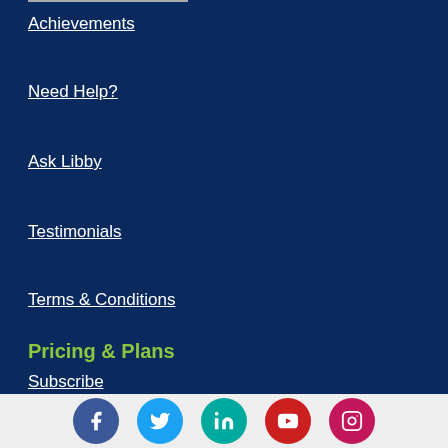Achievements
Need Help?
Ask Libby
Testimonials
Terms & Conditions
Pricing & Plans
Subscribe
Special Deals
[Figure (illustration): Row of five social media icons: Facebook (dark blue circle), Twitter (light blue circle), LinkedIn (teal circle), YouTube (red circle), Instagram (pink/magenta circle)]